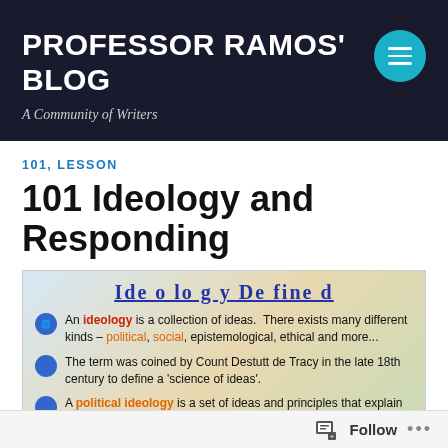PROFESSOR RAMOS' BLOG
A Community of Writers
101, LESSON
101 Ideology and Responding
[Figure (infographic): Infographic titled 'Ideology Defined' with three bullet points: (1) An ideology is a collection of ideas. There exists many different kinds – political, social, epistemological, ethical and more... (2) The term was coined by Count Destutt de Tracy in the late 18th century to define a 'science of ideas'. (3) A political ideology is a set of ideas and principles that explain how (cut off)]
Follow